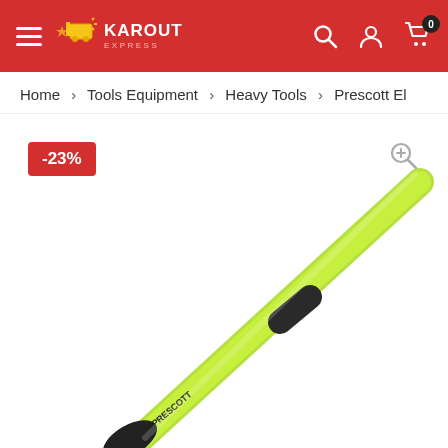KAROUT EXPRESS - Navigation header with hamburger menu, logo, search, account, and cart icons
Home > Tools Equipment > Heavy Tools > Prescott El
[Figure (photo): Green/yellow electric grass trimmer/string trimmer with a looped handle at the top, shown diagonally against a white background. A -23% discount badge is shown in the top-left corner.]